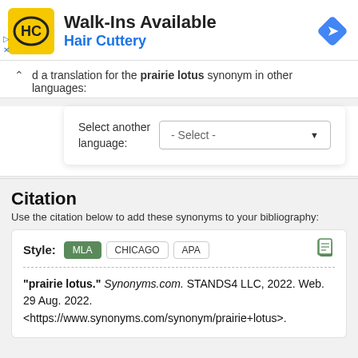[Figure (other): Hair Cuttery advertisement banner with logo, Walk-Ins Available text, and navigation arrow icon]
d a translation for the prairie lotus synonym in other languages:
Select another language: - Select -
Citation
Use the citation below to add these synonyms to your bibliography:
Style: MLA CHICAGO APA
"prairie lotus." Synonyms.com. STANDS4 LLC, 2022. Web. 29 Aug. 2022. <https://www.synonyms.com/synonym/prairie+lotus>.